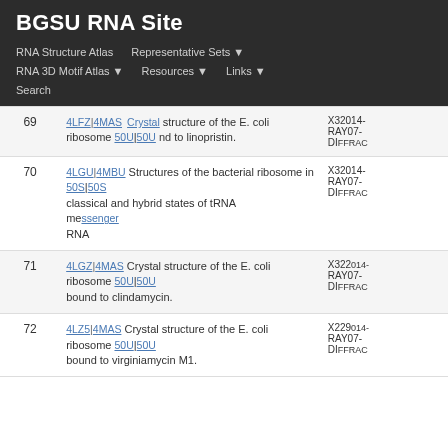BGSU RNA Site
RNA Structure Atlas | Representative Sets | RNA 3D Motif Atlas | Resources | Links | Search
| # | Description | Method/Date |
| --- | --- | --- |
| 69 | 4LFZ|4MAS Crystal structure of the E. coli ribosome bound to linopristin. | 50S|50U | X-RAY DIFFRACTION 2014-07-... |
| 70 | 4LGU|4MBU Structures of the bacterial ribosome in classical and hybrid states of tRNA messenger RNA | 50S|50U | X-RAY DIFFRACTION 2014-07-... |
| 71 | 4LGZ|4MAS Crystal structure of the E. coli ribosome bound to clindamycin. | 50S|50U | X-RAY/22 DIFFRACTION 2014-07-... |
| 72 | 4LZ5|4MAS Crystal structure of the E. coli ribosome bound to virginiamycin M1. | 50S|50U | X-22 RAY DIFFRACTION 2014-07-... |